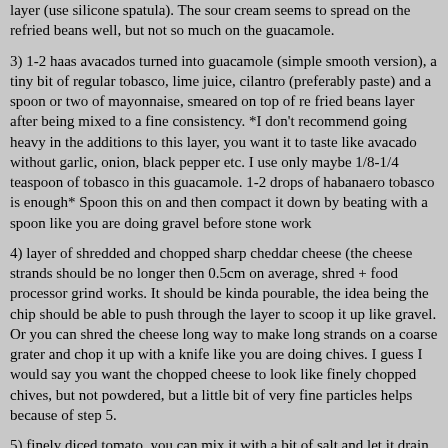layer (use silicone spatula). The sour cream seems to spread on the refried beans well, but not so much on the guacamole.
3) 1-2 haas avacados turned into guacamole (simple smooth version), a tiny bit of regular tobasco, lime juice, cilantro (preferably paste) and a spoon or two of mayonnaise, smeared on top of re fried beans layer after being mixed to a fine consistency. *I don't recommend going heavy in the additions to this layer, you want it to taste like avacado without garlic, onion, black pepper etc. I use only maybe 1/8-1/4 teaspoon of tobasco in this guacamole. 1-2 drops of habanaero tobasco is enough* Spoon this on and then compact it down by beating with a spoon like you are doing gravel before stone work
4) layer of shredded and chopped sharp cheddar cheese (the cheese strands should be no longer then 0.5cm on average, shred + food processor grind works. It should be kinda pourable, the idea being the chip should be able to push through the layer to scoop it up like gravel. Or you can shred the cheese long way to make long strands on a coarse grater and chop it up with a knife like you are doing chives. I guess I would say you want the chopped cheese to look like finely chopped chives, but not powdered, but a little bit of very fine particles helps because of step 5.
5) finely diced tomato, you can mix it with a bit of salt and let it drain it really helps for 30 min-1 hour, that tomato does not have to be perfect, in fact...